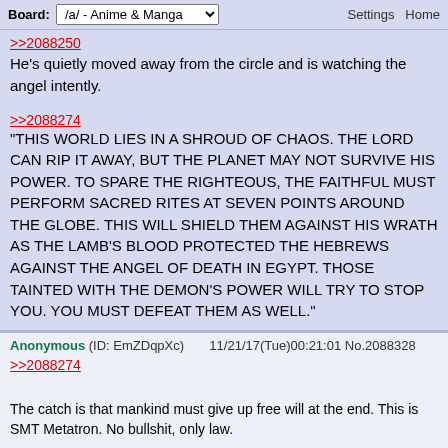Board: /a/ - Anime & Manga   Settings  Home
He's quietly moved away from the circle and is watching the angel intently.
>>2088274
"THIS WORLD LIES IN A SHROUD OF CHAOS. THE LORD CAN RIP IT AWAY, BUT THE PLANET MAY NOT SURVIVE HIS POWER. TO SPARE THE RIGHTEOUS, THE FAITHFUL MUST PERFORM SACRED RITES AT SEVEN POINTS AROUND THE GLOBE. THIS WILL SHIELD THEM AGAINST HIS WRATH AS THE LAMB'S BLOOD PROTECTED THE HEBREWS AGAINST THE ANGEL OF DEATH IN EGYPT. THOSE TAINTED WITH THE DEMON'S POWER WILL TRY TO STOP YOU. YOU MUST DEFEAT THEM AS WELL."
Anonymous (ID: EmZDqpXc)  11/21/17(Tue)00:21:01 No.2088328
>>2088274
The catch is that mankind must give up free will at the end. This is SMT Metatron. No bullshit, only law.
Anonymous (ID: k7MPxyrY)  11/21/17(Tue)00:22:53 No.2088339
So i was reading up on SMT wikia and i found this.

Law